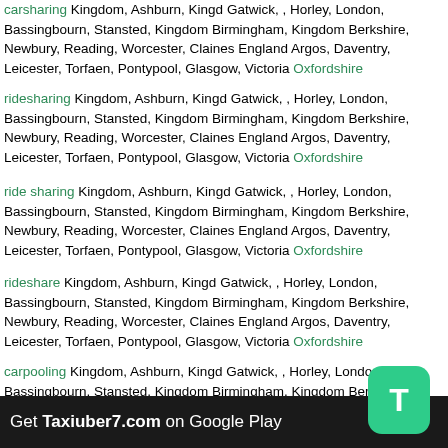carsharing Kingdom, Ashburn, Kingd Gatwick, , Horley, London, Bassingbourn, Stansted, Kingdom Birmingham, Kingdom Berkshire, Newbury, Reading, Worcester, Claines England Argos, Daventry, Leicester, Torfaen, Pontypool, Glasgow, Victoria Oxfordshire
ridesharing Kingdom, Ashburn, Kingd Gatwick, , Horley, London, Bassingbourn, Stansted, Kingdom Birmingham, Kingdom Berkshire, Newbury, Reading, Worcester, Claines England Argos, Daventry, Leicester, Torfaen, Pontypool, Glasgow, Victoria Oxfordshire
ride sharing Kingdom, Ashburn, Kingd Gatwick, , Horley, London, Bassingbourn, Stansted, Kingdom Birmingham, Kingdom Berkshire, Newbury, Reading, Worcester, Claines England Argos, Daventry, Leicester, Torfaen, Pontypool, Glasgow, Victoria Oxfordshire
rideshare Kingdom, Ashburn, Kingd Gatwick, , Horley, London, Bassingbourn, Stansted, Kingdom Birmingham, Kingdom Berkshire, Newbury, Reading, Worcester, Claines England Argos, Daventry, Leicester, Torfaen, Pontypool, Glasgow, Victoria Oxfordshire
carpooling Kingdom, Ashburn, Kingd Gatwick, , Horley, London, Bassingbourn, Stansted, Kingdom Birmingham, Kingdom Berkshire, Newbury, Reading, Worcester, Claines England Argos, Daventry, Leicester, Torfaen, Pontypool, Glasgow, Victoria Oxfordshire
carpool Kingdom, Ashburn, Kingd Gatwick, , Horley, London,
Get Taxiuber7.com on Google Play